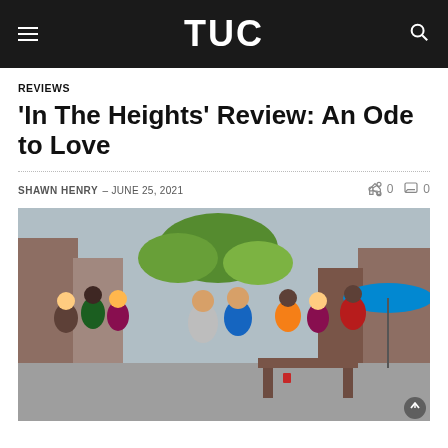TUC
REVIEWS
'In The Heights' Review: An Ode to Love
SHAWN HENRY – JUNE 25, 2021
[Figure (photo): Scene from 'In The Heights' film showing a large group of people dancing in an outdoor urban setting. Two central figures, a man in a grey t-shirt and a woman in a blue crop top, are dancing together surrounded by a joyful crowd. The setting appears to be a courtyard or alley in Washington Heights, New York.]